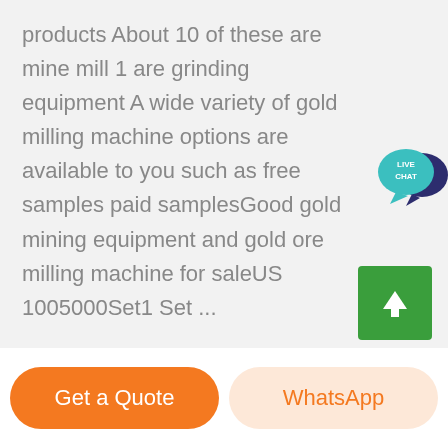products About 10 of these are mine mill 1 are grinding equipment A wide variety of gold milling machine options are available to you such as free samples paid samplesGood gold mining equipment and gold ore milling machine for saleUS 1005000Set1 Set ...
[Figure (other): Live Chat speech bubble button icon — teal bubble with white text 'LIVE CHAT' and a dark navy speech bubble shape behind it]
[Figure (other): Green scroll-to-top button with white upward arrow icon]
Get a Quote
WhatsApp